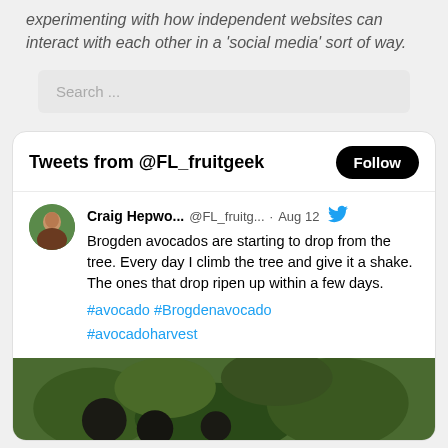experimenting with how independent websites can interact with each other in a 'social media' sort of way.
[Figure (screenshot): Search input box with placeholder text 'Search ...']
[Figure (screenshot): Twitter/social media widget showing tweets from @FL_fruitgeek with a Follow button, and a tweet by Craig Hepwo... @FL_fruitg... Aug 12 about Brogden avocados dropping from the tree with hashtags #avocado #Brogdenavocado #avocadoharvest, and a photo of avocados on grass.]